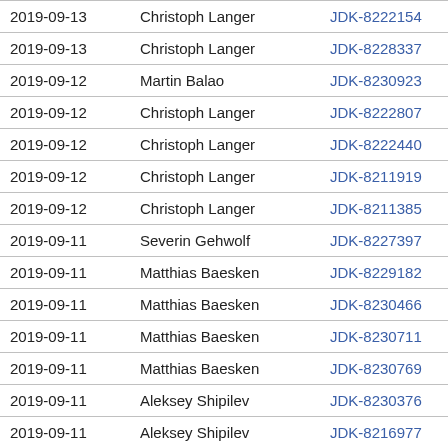| Date | Name | Issue | Description |
| --- | --- | --- | --- |
| 2019-09-13 | Christoph Langer | JDK-8222154 | up |
| 2019-09-13 | Christoph Langer | JDK-8228337 | pr |
| 2019-09-12 | Martin Balao | JDK-8230923 | Su |
| 2019-09-12 | Christoph Langer | JDK-8222807 | (z |
| 2019-09-12 | Christoph Langer | JDK-8222440 | (z |
| 2019-09-12 | Christoph Langer | JDK-8211919 | (z |
| 2019-09-12 | Christoph Langer | JDK-8211385 | (z |
| 2019-09-11 | Severin Gehwolf | JDK-8227397 | Ad |
| 2019-09-11 | Matthias Baesken | JDK-8229182 | [T |
| 2019-09-11 | Matthias Baesken | JDK-8230466 | ch |
| 2019-09-11 | Matthias Baesken | JDK-8230711 | Co |
| 2019-09-11 | Matthias Baesken | JDK-8230769 | Bu |
| 2019-09-11 | Aleksey Shipilev | JDK-8230376 | [T |
| 2019-09-11 | Aleksey Shipilev | JDK-8216977 | Sh |
| 2019-09-10 | Aleksey Shipilev | JDK-8230813 | Ad |
| 2019-09-10 | Martin Balao | JDK-8216934 | Fi |